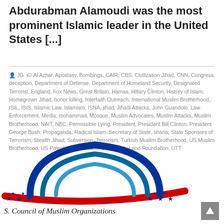Abdurabman Alamoudi was the most prominent Islamic leader in the United States [...]
JG  Al Azhar, Apostasy, Bombings, CAIR, CBS, Civilization Jihad, CNN, Congress, deception, Department of Defense, Department of Homeland Security, Designated Terrorist, England, Fox News, Great Britain, Hamas, Hillary Clinton, History of Islam, Homegrown Jihad, honor killing, Interfaith Outreach, International Muslim Brotherhood, ISIL, ISIS, Islamic Law, Islamism, ISNA, jihad, Jihadi Attacks, John Guandolo, Law Enforcement, Media, mohammad, Mosque, Muslim Advocates, Muslim Attacks, Muslim Brotherhood, NAIT, NBC, Permissible Lying, President, President Bill Clinton, President George Bush, Propaganda, Radical Islam, Secretary of State, sharia, State Sponsors of Terrorism, Stealth Jihad, Subversion, Terrorism, Turkish Muslim Brotherhood, US Muslim Brotherhood, US Palestine Committee, USA v Holy Land Foundation, UTT
[Figure (logo): US Council of Muslim Organizations logo - dome/arch design in blue and red with stars and text]
[Figure (other): Scroll to top button - grey square with upward arrow]